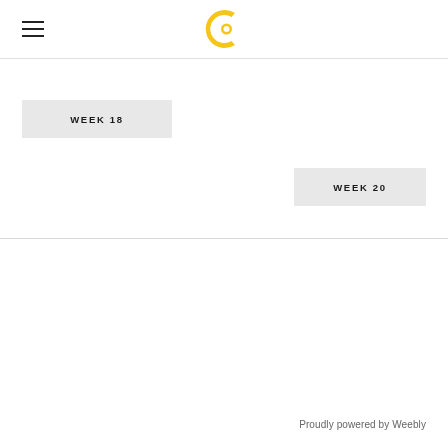[Figure (logo): Yellow circular logo with a stylized 'cd' letter mark]
WEEK 18
WEEK 20
Proudly powered by Weebly